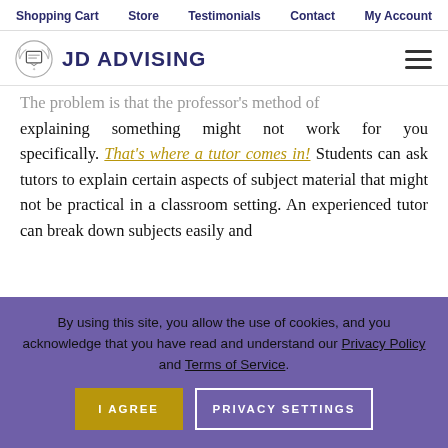Shopping Cart | Store | Testimonials | Contact | My Account
[Figure (logo): JD Advising logo with diploma icon and site navigation hamburger menu]
The problem is that the professor's method of explaining something might not work for you specifically. That's where a tutor comes in! Students can ask tutors to explain certain aspects of subject material that might not be practical in a classroom setting. An experienced tutor can break down subjects easily and
By using this site, you allow the use of cookies, and you acknowledge that you have read and understand our Privacy Policy and Terms of Service.
I AGREE | PRIVACY SETTINGS